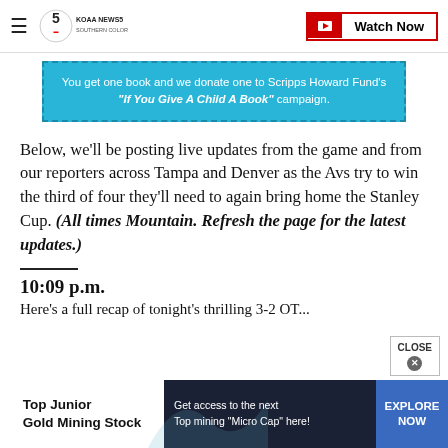KOAA NEWS5 SOUTHERN COLORADO | Watch Now
[Figure (infographic): Cyan banner ad: 'You get one book and we donate one to Scripps Howard Fund's "If You Give A Child A Book" campaign.']
Below, we'll be posting live updates from the game and from our reporters across Tampa and Denver as the Avs try to win the third of four they'll need to again bring home the Stanley Cup. (All times Mountain. Refresh the page for the latest updates.)
10:09 p.m.
Here's a full recap of tonight's thrilling 3-2 OT...
[Figure (infographic): Bottom ad bar: Top Junior Gold Mining Stock - Get access to the next Top mining "Micro Cap" here! EXPLORE NOW]